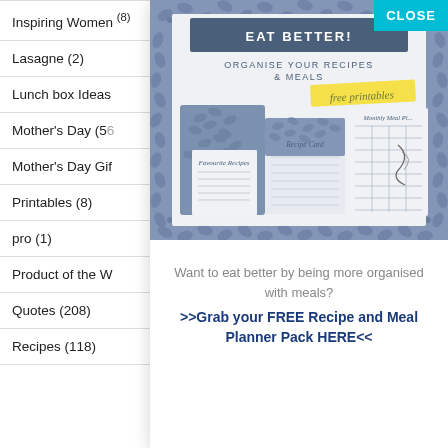Inspiring Women (8)
Lasagne (2)
Lunch box Ideas
Mother's Day (56)
Mother's Day Gif
Printables (8)
pro (1)
Product of the W
Quotes (208)
Recipes (118)
[Figure (infographic): Popup advertisement for a free Recipe and Meal Planner Pack. Features a decorative blue floral border with a header 'EAT BETTER!' in white on dark blue bar, subtext 'ORGANISE YOUR RECIPES & MEALS', yellow 'free printables' badge, and illustrations of recipe cards. Has a teal CLOSE button in top right corner.]
Want to eat better by being more organised with meals?
>>Grab your FREE Recipe and Meal Planner Pack HERE<<